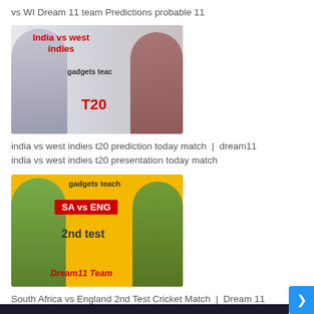vs WI Dream 11 team Predictions probable 11
[Figure (photo): India vs West Indies T20 Dream11 thumbnail image showing two cricket players (Virat Kohli and a West Indies player) with text 'India vs west indies', 'gadgets teach', 'T20' on a grey/white background]
india vs west indies t20 prediction today match | dream11 india vs west indies t20 presentation today match
[Figure (photo): SA vs ENG 2nd Test Dream11 Team thumbnail with yellow background, two cricket players, red badge with 'SA vs ENG', '2nd test' text, 'gadgets teach' and 'Dream11 Team' labels in red]
South Africa vs England 2nd Test Cricket Match | Dream 11 South Africa vs England Pro Team Prediction